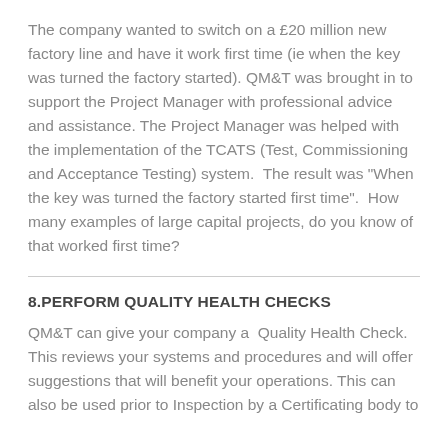The company wanted to switch on a £20 million new factory line and have it work first time (ie when the key was turned the factory started). QM&T was brought in to support the Project Manager with professional advice and assistance. The Project Manager was helped with the implementation of the TCATS (Test, Commissioning and Acceptance Testing) system.  The result was "When the key was turned the factory started first time".  How many examples of large capital projects, do you know of that worked first time?
8.PERFORM QUALITY HEALTH CHECKS
QM&T can give your company a  Quality Health Check. This reviews your systems and procedures and will offer suggestions that will benefit your operations. This can also be used prior to Inspection by a Certificating body to